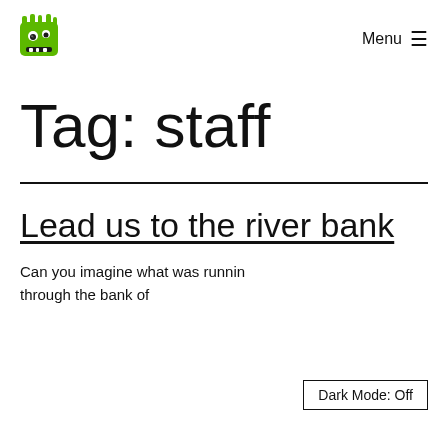Menu ≡
Tag: staff
Lead us to the river bank
Can you imagine what was running through the bank of
Dark Mode: Off